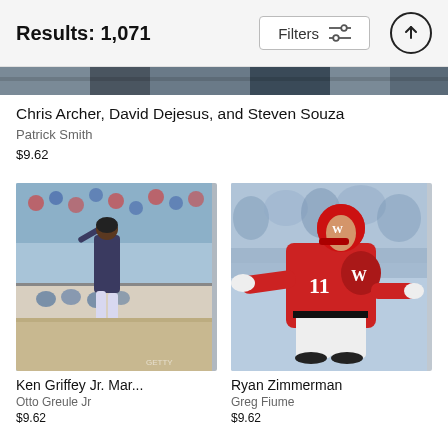Results: 1,071
[Figure (screenshot): Partial top image strip showing a cropped sports photo]
Chris Archer, David Dejesus, and Steven Souza
Patrick Smith
$9.62
[Figure (photo): Ken Griffey Jr. batting at a baseball game, crowds in background]
Ken Griffey Jr. Mar...
Otto Greule Jr
$9.62
[Figure (photo): Ryan Zimmerman in red Washington Nationals jersey number 11, pointing, blurred crowd background]
Ryan Zimmerman
Greg Fiume
$9.62